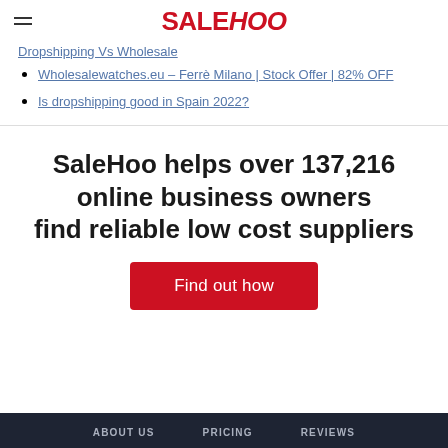SALEHOO
Dropshipping Vs Wholesale
Wholesalewatches.eu – Ferrè Milano | Stock Offer | 82% OFF
Is dropshipping good in Spain 2022?
SaleHoo helps over 137,216 online business owners find reliable low cost suppliers
Find out how
ABOUT US   PRICING   REVIEWS